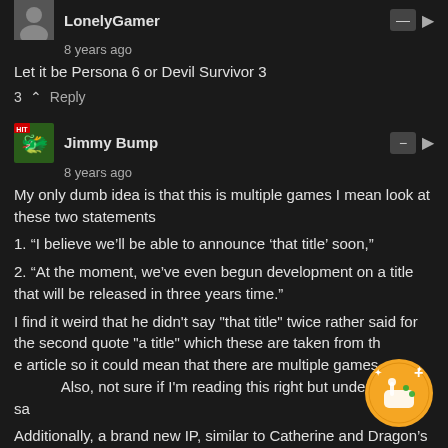LonelyGamer
8 years ago
Let it be Persona 6 or Devil Survivor 3
3  Reply
Jimmy Bump
8 years ago
My only dumb idea is that this is multiple games I mean look at these two statements
1. “I believe we’ll be able to announce ‘that title’ soon,”
2. “At the moment, we’ve even begun development on a title that will be released in three years time.”
I find it weird that he didn’t say "that title" twice rather said for the second quote "a title" which these are taken from the same article so it could mean that there are multiple games in the works. Also, not sure if I’m reading this right but under that it says
Additionally, a brand new IP, similar to Catherine and Dragon’s Crown [as new standalone IPs] is in the works, too.